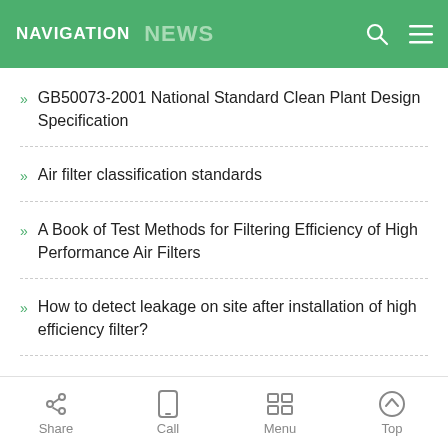NAVIGATION NEWS
GB50073-2001 National Standard Clean Plant Design Specification
Air filter classification standards
A Book of Test Methods for Filtering Efficiency of High Performance Air Filters
How to detect leakage on site after installation of high efficiency filter?
National Standard "Efficient Air Filter Performance Test Method Efficiency and R
Share  Call  Menu  Top